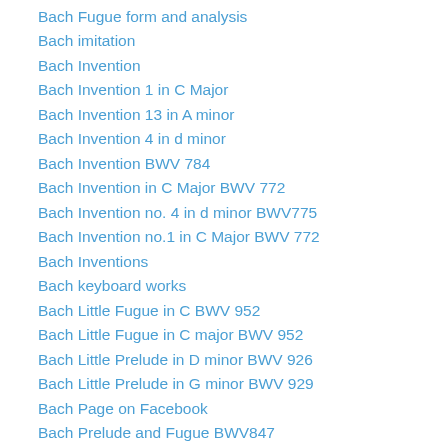Bach Fugue form and analysis
Bach imitation
Bach Invention
Bach Invention 1 in C Major
Bach Invention 13 in A minor
Bach Invention 4 in d minor
Bach Invention BWV 784
Bach Invention in C Major BWV 772
Bach Invention no. 4 in d minor BWV775
Bach Invention no.1 in C Major BWV 772
Bach Inventions
Bach keyboard works
Bach Little Fugue in C BWV 952
Bach Little Fugue in C major BWV 952
Bach Little Prelude in D minor BWV 926
Bach Little Prelude in G minor BWV 929
Bach Page on Facebook
Bach Prelude and Fugue BWV847
Bach Prelude BWV 847 in C minor
Bach Prelude in C BWV 846